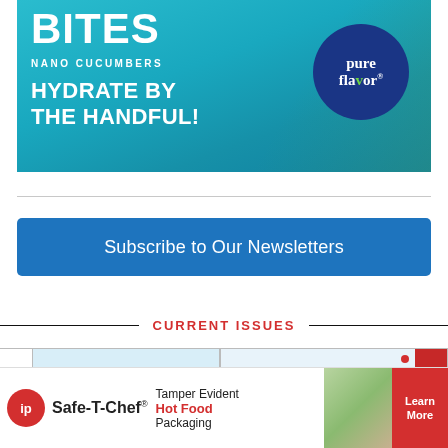[Figure (photo): Advertisement for Pure Flavor Bites Nano Cucumbers. Teal/blue background with large white text reading 'BITES', 'NANO CUCUMBERS', 'HYDRATE BY THE HANDFUL!'. Dark blue circular logo with 'pure flavor' branding on the right. Hands holding cucumbers visible.]
[Figure (other): Blue button/banner reading 'Subscribe to Our Newsletters']
CURRENT ISSUES
[Figure (screenshot): Two partially visible magazine issue thumbnail cards below the CURRENT ISSUES header, with a chevron/dropdown indicator on the left card.]
[Figure (photo): Bottom advertisement for Safe-T-Chef by IP. Red circular IP logo on left, 'Safe-T-Chef' brand name, text reading 'Tamper Evident Hot Food Packaging', food image in center, red 'Learn More' button on right.]